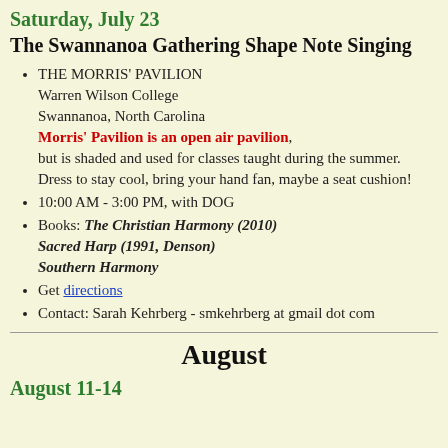Saturday, July 23
The Swannanoa Gathering Shape Note Singing
THE MORRIS' PAVILION
Warren Wilson College
Swannanoa, North Carolina
Morris' Pavilion is an open air pavilion, but is shaded and used for classes taught during the summer. Dress to stay cool, bring your hand fan, maybe a seat cushion!
10:00 AM - 3:00 PM, with DOG
Books: The Christian Harmony (2010) Sacred Harp (1991, Denson) Southern Harmony
Get directions
Contact: Sarah Kehrberg - smkehrberg at gmail dot com
August
August 11-14